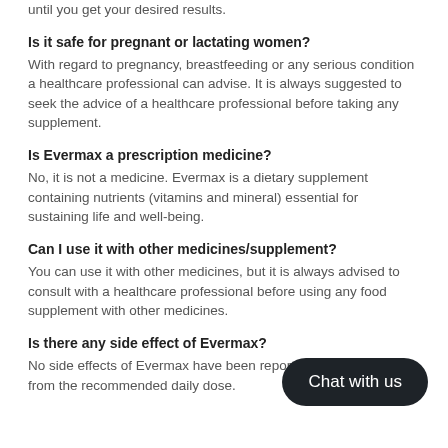until you get your desired results.
Is it safe for pregnant or lactating women?
With regard to pregnancy, breastfeeding or any serious condition a healthcare professional can advise. It is always suggested to seek the advice of a healthcare professional before taking any supplement.
Is Evermax a prescription medicine?
No, it is not a medicine. Evermax is a dietary supplement containing nutrients (vitamins and mineral) essential for sustaining life and well-being.
Can I use it with other medicines/supplement?
You can use it with other medicines, but it is always advised to consult with a healthcare professional before using any food supplement with other medicines.
Is there any side effect of Evermax?
No side effects of Evermax have been reported. Do not exceed from the recommended daily dose.